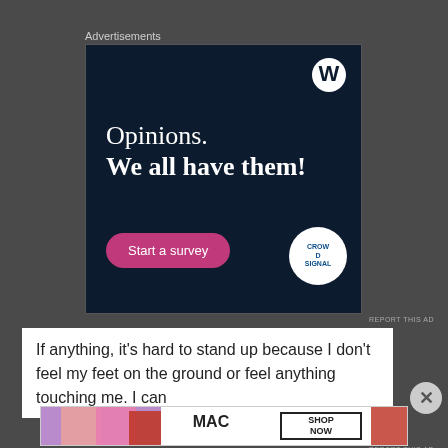Advertisements
[Figure (infographic): WordPress/Crowdsignal advertisement with dark navy background. Text reads 'Opinions. We all have them!' with a pink 'Start a survey' button. WordPress logo in top right corner, Crowdsignal logo circle in bottom right.]
REPORT THIS AD
If anything, it's hard to stand up because I don't feel my feet on the ground or feel anything touching me. I can
[Figure (photo): MAC cosmetics advertisement showing colorful lipsticks (purple, peach, pink, red) with MAC logo and 'SHOP NOW' text in a bordered box.]
REPORT THIS AD